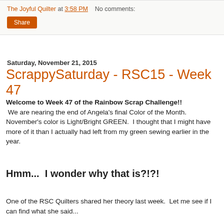The Joyful Quilter at 3:58 PM   No comments:
Share
Saturday, November 21, 2015
ScrappySaturday - RSC15 - Week 47
Welcome to Week 47 of the Rainbow Scrap Challenge!!  We are nearing the end of Angela's final Color of the Month.  November's color is Light/Bright GREEN.  I thought that I might have more of it than I actually had left from my green sewing earlier in the year.
Hmm...  I wonder why that is?!?!
One of the RSC Quilters shared her theory last week.  Let me see if I can find what she said...